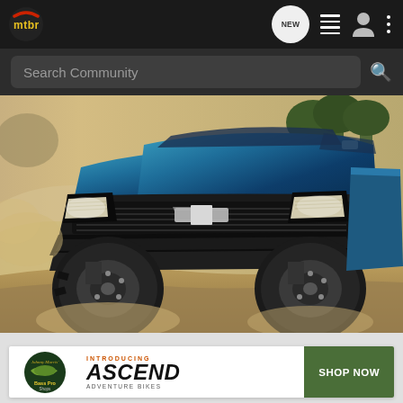[Figure (logo): mtbr logo - circular dark background with mtbr text in yellow/green with red circle accent]
[Figure (screenshot): Navigation bar icons: NEW chat bubble, list icon, user icon, three-dot menu]
Search Community
[Figure (photo): Blue Chevrolet Silverado ZR2 pickup truck driving on a dirt/off-road trail kicking up dust, front three-quarter view, trees in background]
[Figure (advertisement): Bass Pro Shops ad: INTRODUCING ASCEND ADVENTURE BIKES with SHOP NOW button in olive/green]
INTRODUCING
ASCEND
ADVENTURE BIKES
SHOP NOW